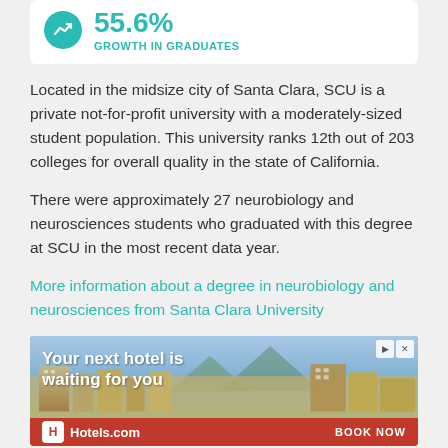[Figure (infographic): Teal circle icon with upward trend chart symbol, showing 55.6% Growth in Graduates stat]
55.6%
GROWTH IN GRADUATES
Located in the midsize city of Santa Clara, SCU is a private not-for-profit university with a moderately-sized student population. This university ranks 12th out of 203 colleges for overall quality in the state of California.
There were approximately 27 neurobiology and neurosciences students who graduated with this degree at SCU in the most recent data year.
More information about a degree in neurobiology and neurosciences from Santa Clara University
[Figure (screenshot): Hotels.com advertisement showing hotel/resort aerial view with text 'Your next hotel is waiting for you' and 'BOOK NOW' button]